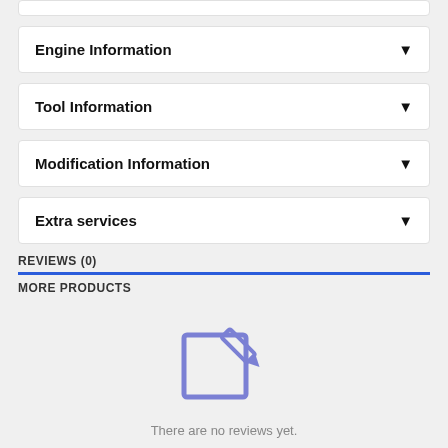Engine Information
Tool Information
Modification Information
Extra services
REVIEWS (0)
MORE PRODUCTS
[Figure (illustration): Write/edit icon — a square with a pencil overlaid, rendered in purple/blue outline style]
There are no reviews yet.